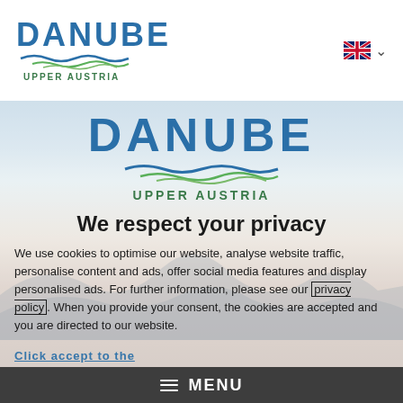DANUBE UPPER AUSTRIA - navigation header with language selector
[Figure (logo): Danube Upper Austria logo centered on scenic mountain/river background image]
We respect your privacy
We use cookies to optimise our website, analyse website traffic, personalise content and ads, offer social media features and display personalised ads. For further information, please see our privacy policy. When you provide your consent, the cookies are accepted and you are directed to our website.
≡ MENU